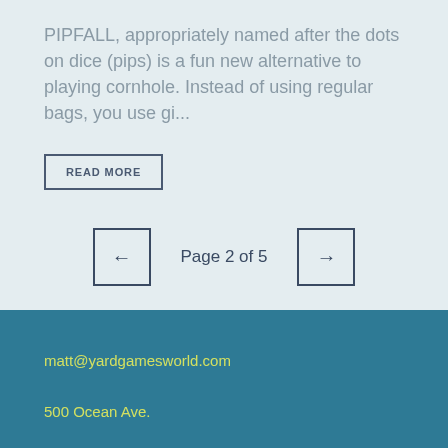PIPFALL, appropriately named after the dots on dice (pips) is a fun new alternative to playing cornhole. Instead of using regular bags, you use gi...
READ MORE
Page 2 of 5
matt@yardgamesworld.com
500 Ocean Ave.